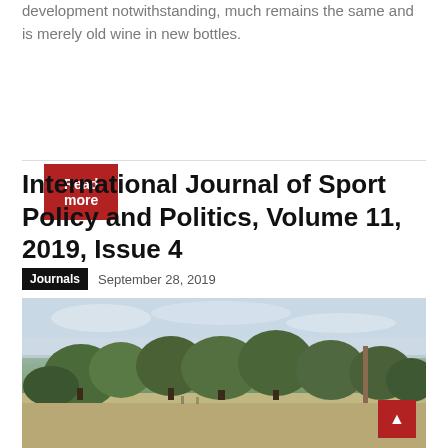development notwithstanding, much remains the same and is merely old wine in new bottles.
Read more
International Journal of Sport Policy and Politics, Volume 11, 2019, Issue 4
Journals   September 28, 2019
[Figure (photo): Outdoor scene with trees and a road or field, overcast sky, with a utility pole visible on the right side.]